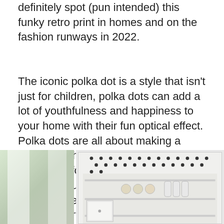definitely spot (pun intended) this funky retro print in homes and on the fashion runways in 2022.
The iconic polka dot is a style that isn't just for children, polka dots can add a lot of youthfulness and happiness to your home with their fun optical effect. Polka dots are all about making a statement that can become a great focal point for any interior space, whether you go full-on floor or wall, or add splashes of spots with bedding, decals or artwork.
[Figure (photo): Left photo showing a room interior with curtains and a window with greenery outside]
[Figure (photo): Right photo showing a white pantry/cabinet interior decorated with black polka dots on the walls, with shelves, bowls, and containers]